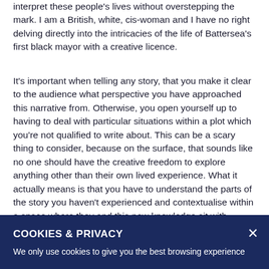interpret these people's lives without overstepping the mark. I am a British, white, cis-woman and I have no right delving directly into the intricacies of the life of Battersea's first black mayor with a creative licence.
It's important when telling any story, that you make it clear to the audience what perspective you have approached this narrative from. Otherwise, you open yourself up to having to deal with particular situations within a plot which you're not qualified to write about. This can be a scary thing to consider, because on the surface, that sounds like no one should have the creative freedom to explore anything other than their own lived experience. What it actually means is that you have to understand the parts of the story you haven't experienced and contextualise within a space where they and this new knowledge sit with...
COOKIES & PRIVACY
We only use cookies to give you the best browsing experience